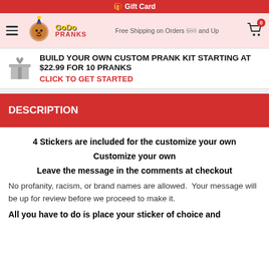🎁 Gift Card
Free Shipping on Orders $88 and Up
[Figure (logo): GoDo Pranks logo with lion mascot wearing jester hat]
BUILD YOUR OWN CUSTOM PRANK KIT STARTING AT $22.99 FOR 10 PRANKS
CLICK TO GET STARTED
DESCRIPTION
4 Stickers are included for the customize your own
Customize your own
Leave the message in the comments at checkout
No profanity, racism, or brand names are allowed.  Your message will be up for review before we proceed to make it.
All you have to do is place your sticker of choice and